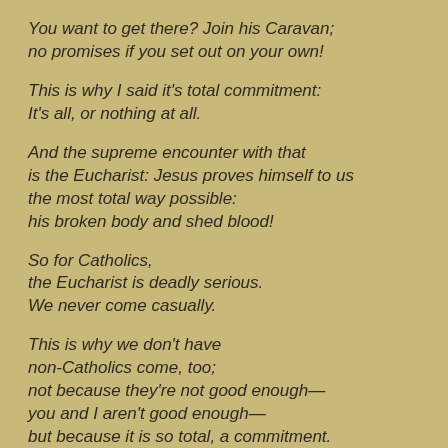You want to get there? Join his Caravan;
no promises if you set out on your own!
This is why I said it’s total commitment:
It’s all, or nothing at all.
And the supreme encounter with that
is the Eucharist: Jesus proves himself to us
the most total way possible:
his broken body and shed blood!
So for Catholics,
the Eucharist is deadly serious.
We never come casually.
This is why we don’t have
non-Catholics come, too;
not because they’re not good enough—
you and I aren’t good enough—
but because it is so total, a commitment.
We have to know
what we’re saying “Amen” to: